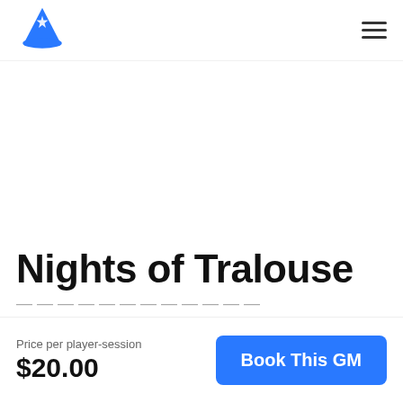Wizard hat logo and hamburger menu
Nights of Tralouse
Price per player-session
$20.00
Book This GM